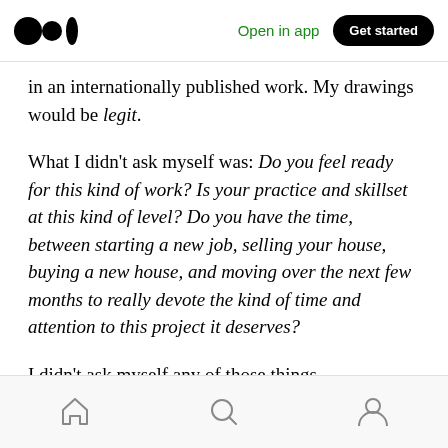Medium logo | Open in app | Get started
in an internationally published work. My drawings would be legit.
What I didn't ask myself was: Do you feel ready for this kind of work? Is your practice and skillset at this kind of level? Do you have the time, between starting a new job, selling your house, buying a new house, and moving over the next few months to really devote the kind of time and attention to this project it deserves?
I didn't ask myself any of those things.
Home | Search | Profile